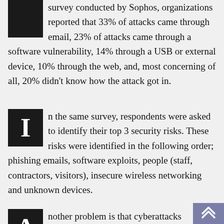survey conducted by Sophos, organizations reported that 33% of attacks came through email, 23% of attacks came through a software vulnerability, 14% through a USB or external device, 10% through the web, and, most concerning of all, 20% didn't know how the attack got in.
In the same survey, respondents were asked to identify their top 3 security risks. These risks were identified in the following order; phishing emails, software exploits, people (staff, contractors, visitors), insecure wireless networking and unknown devices.
Another problem is that cyberattacks